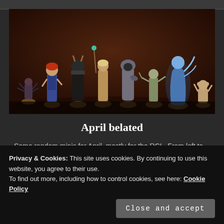[Figure (photo): Row of painted miniature figurines on bases against a dark brown background. Eight fantasy/horror miniatures including characters in robes, a glowing blue female figure, and various monsters.]
April belated
Some random minis for April, mostly for the RCL. From left to right A Bones 5 core set BriarlingSculpted by [...]
Privacy & Cookies: This site uses cookies. By continuing to use this website, you agree to their use.
To find out more, including how to control cookies, see here: Cookie Policy
Close and accept